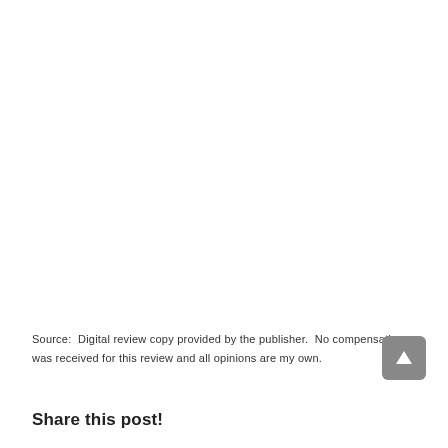Source:  Digital review copy provided by the publisher.  No compensation was received for this review and all opinions are my own.
Share this post!